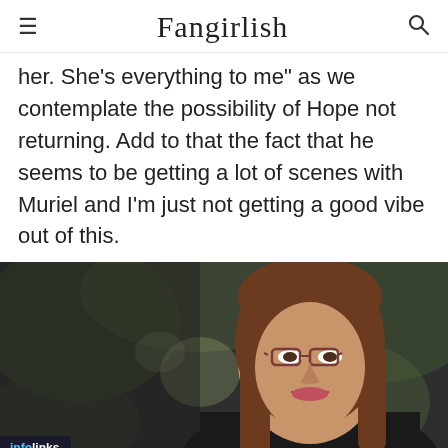Fangirlish
her. She’s everything to me” as we contemplate the possibility of Hope not returning. Add to that the fact that he seems to be getting a lot of scenes with Muriel and I’m just not getting a good vibe out of this.
[Figure (photo): A woman with long brown hair and glasses smiling, photographed outdoors with a blurred green background. An infolinks badge appears in the bottom-left corner.]
[Figure (screenshot): Advertisement for Belk.com - Belk Official Site. Shows product thumbnail, ad title 'Belk.com - Belk® - Official Site', description 'Shop for clothing, handbags, jewelry, beauty, home & more!', URL www.belk.com, and a purple circular arrow button. Small promo badges on left side.]